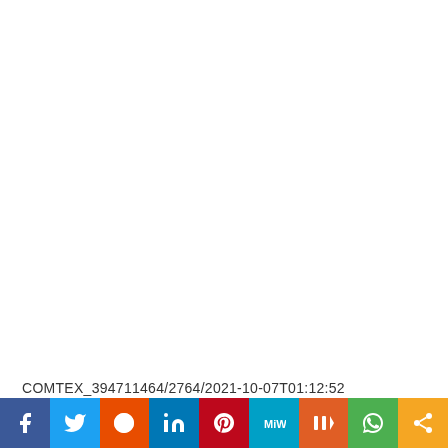COMTEX_394711464/2764/2021-10-07T01:12:52
[Figure (infographic): Social media sharing bar with icons for Facebook, Twitter, Reddit, LinkedIn, Pinterest, MiW, Mix, WhatsApp, and a generic share button.]